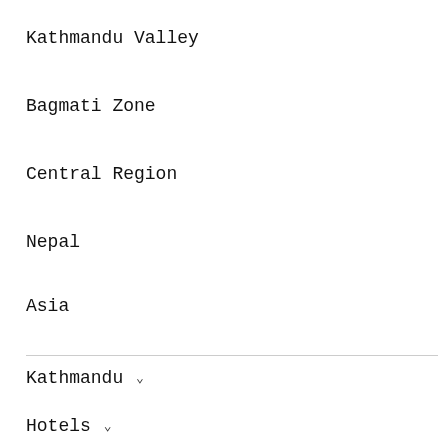Kathmandu Valley
Bagmati Zone
Central Region
Nepal
Asia
Kathmandu ˅
Hotels ˅
Things to Do ˅
Restaurants
Flights